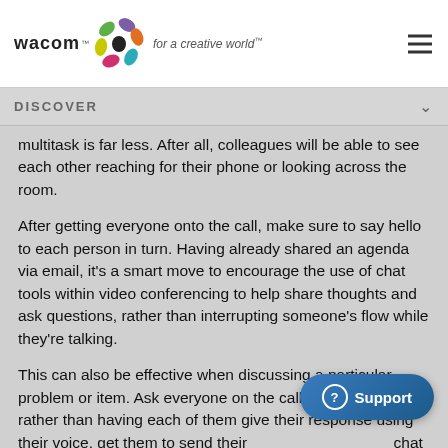wacom — for a creative world™
DISCOVER
multitask is far less. After all, colleagues will be able to see each other reaching for their phone or looking across the room.
After getting everyone onto the call, make sure to say hello to each person in turn. Having already shared an agenda via email, it's a smart move to encourage the use of chat tools within video conferencing to help share thoughts and ask questions, rather than interrupting someone's flow while they're talking.
This can also be effective when discussing a particular problem or item. Ask everyone on the call a question and, rather than having each of them give their response using their voice, get them to send their chat during a quick, five minute break. That way, ideas